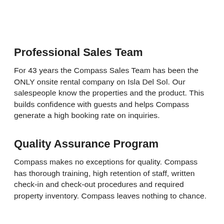Professional Sales Team
For 43 years the Compass Sales Team has been the ONLY onsite rental company on Isla Del Sol. Our salespeople know the properties and the product. This builds confidence with guests and helps Compass generate a high booking rate on inquiries.
Quality Assurance Program
Compass makes no exceptions for quality. Compass has thorough training, high retention of staff, written check-in and check-out procedures and required property inventory. Compass leaves nothing to chance.